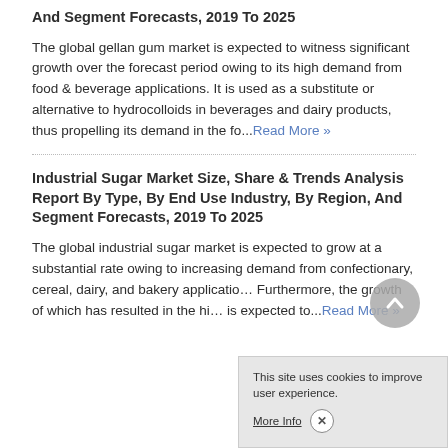And Segment Forecasts, 2019 To 2025
The global gellan gum market is expected to witness significant growth over the forecast period owing to its high demand from food & beverage applications. It is used as a substitute or alternative to hydrocolloids in beverages and dairy products, thus propelling its demand in the fo...Read More »
Industrial Sugar Market Size, Share & Trends Analysis Report By Type, By End Use Industry, By Region, And Segment Forecasts, 2019 To 2025
The global industrial sugar market is expected to grow at a substantial rate owing to increasing demand from confectionary, cereal, dairy, and bakery applications. Furthermore, the growth of which has resulted in the hi is expected to...Read More »